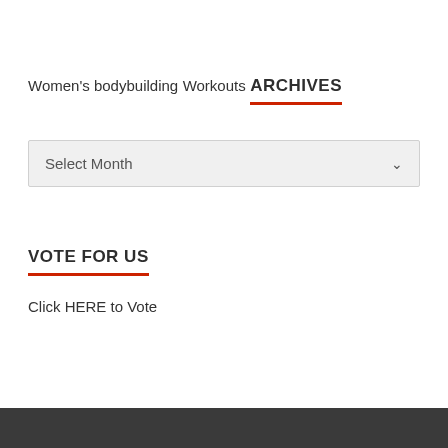Women's bodybuilding
Workouts
ARCHIVES
[Figure (other): A dropdown selector showing 'Select Month' with a chevron arrow on the right side, styled with a light grey background.]
VOTE FOR US
Click HERE to Vote